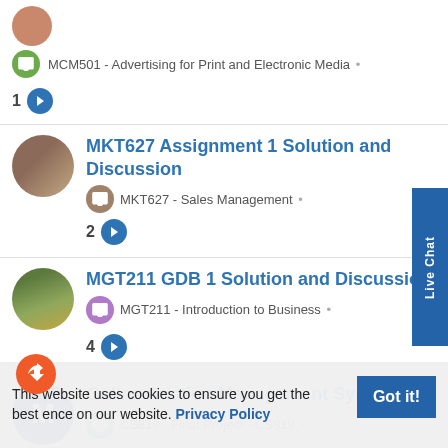MCM501 - Advertising for Print and Electronic Media •
1
MKT627 Assignment 1 Solution and Discussion
MKT627 - Sales Management •
2
MGT211 GDB 1 Solution and Discussion
MGT211 - Introduction to Business •
4
Online Auction Management System
CS819 - Final Project - CS819 •
This website uses cookies to ensure you get the best experience on our website. Privacy Policy